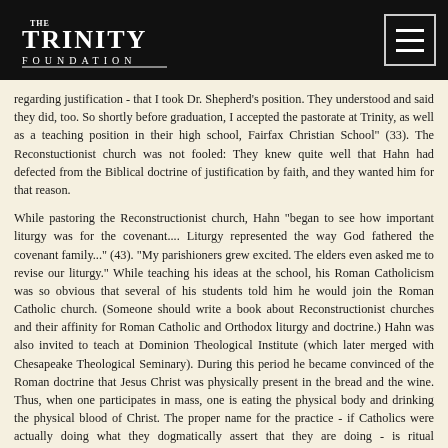THE TRINITY FOUNDATION
regarding justification - that I took Dr. Shepherd’s position. They understood and said they did, too. So shortly before graduation, I accepted the pastorate at Trinity, as well as a teaching position in their high school, Fairfax Christian School” (33). The Reconstuctionist church was not fooled: They knew quite well that Hahn had defected from the Biblical doctrine of justification by faith, and they wanted him for that reason.
While pastoring the Reconstructionist church, Hahn “began to see how important liturgy was for the covenant.... Liturgy represented the way God fathered the covenant family...” (43). “My parishioners grew excited. The elders even asked me to revise our liturgy.” While teaching his ideas at the school, his Roman Catholicism was so obvious that several of his students told him he would join the Roman Catholic church. (Someone should write a book about Reconstructionist churches and their affinity for Roman Catholic and Orthodox liturgy and doctrine.) Hahn was also invited to teach at Dominion Theological Institute (which later merged with Chesapeake Theological Seminary). During this period he became convinced of the Roman doctrine that Jesus Christ was physically present in the bread and the wine. Thus, when one participates in mass, one is eating the physical body and drinking the physical blood of Christ. The proper name for the practice - if Catholics were actually doing what they dogmatically assert that they are doing - is ritual cannibalism.